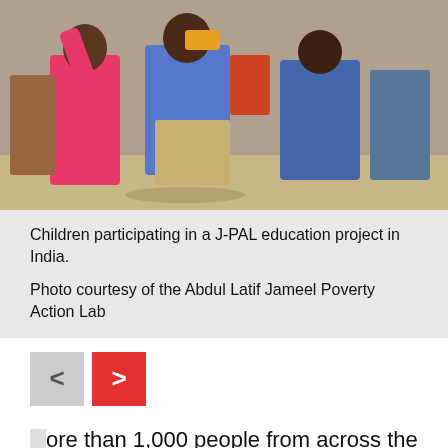[Figure (photo): Children participating in a J-PAL education project in India. Group of children in colorful clothing outdoors.]
Children participating in a J-PAL education project in India.
Photo courtesy of the Abdul Latif Jameel Poverty Action Lab
More than 1,000 people from across the globe gathered at MIT on Dec. 7 to celebrate the 10th anniversary of the Abdul Latif Jameel Poverty Action Lab (J-PAL). The program featured talks, stories from